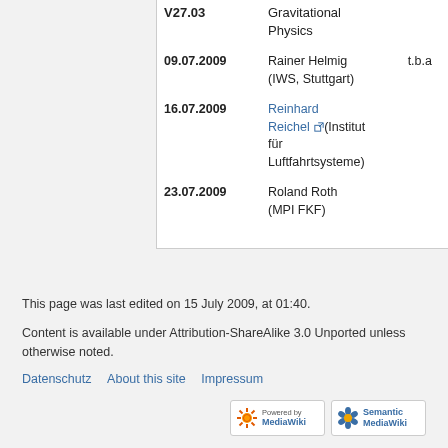| Date | Speaker | Info |
| --- | --- | --- |
| V27.03 | Gravitational Physics |  |
| 09.07.2009 | Rainer Helmig (IWS, Stuttgart) | t.b.a |
| 16.07.2009 | Reinhard Reichel (Institut für Luftfahrtsysteme) |  |
| 23.07.2009 | Roland Roth (MPI FKF) |  |
This page was last edited on 15 July 2009, at 01:40.
Content is available under Attribution-ShareAlike 3.0 Unported unless otherwise noted.
Datenschutz   About this site   Impressum
[Figure (logo): Powered by MediaWiki badge]
[Figure (logo): Semantic MediaWiki badge]